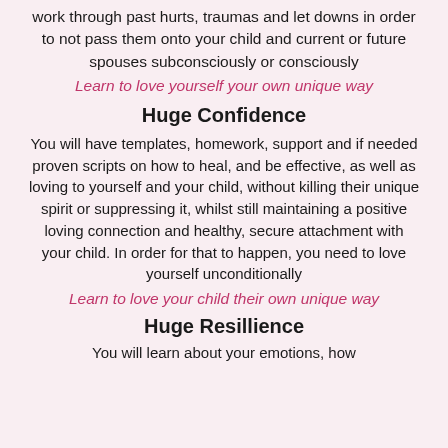work through past hurts, traumas and let downs in order to not pass them onto your child and current or future spouses subconsciously or consciously
Learn to love yourself your own unique way
Huge Confidence
You will have templates, homework, support and if needed proven scripts on how to heal, and be effective, as well as loving to yourself and your child, without killing their unique spirit or suppressing it, whilst still maintaining a positive loving connection and healthy, secure attachment with your child. In order for that to happen, you need to love yourself unconditionally
Learn to love your child their own unique way
Huge Resillience
You will learn about your emotions, how